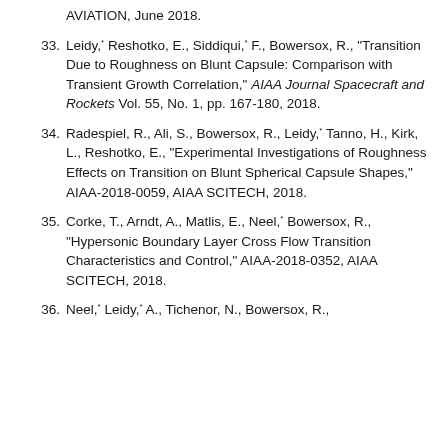AVIATION, June 2018.
33. Leidy,* Reshotko, E., Siddiqui,* F., Bowersox, R., "Transition Due to Roughness on Blunt Capsule: Comparison with Transient Growth Correlation," AIAA Journal Spacecraft and Rockets Vol. 55, No. 1, pp. 167-180, 2018.
34. Radespiel, R., Ali, S., Bowersox, R., Leidy,* Tanno, H., Kirk, L., Reshotko, E., "Experimental Investigations of Roughness Effects on Transition on Blunt Spherical Capsule Shapes," AIAA-2018-0059, AIAA SCITECH, 2018.
35. Corke, T., Arndt, A., Matlis, E., Neel,* Bowersox, R., "Hypersonic Boundary Layer Cross Flow Transition Characteristics and Control," AIAA-2018-0352, AIAA SCITECH, 2018.
36. Neel,* Leidy,* A., Tichenor, N., Bowersox, R.,